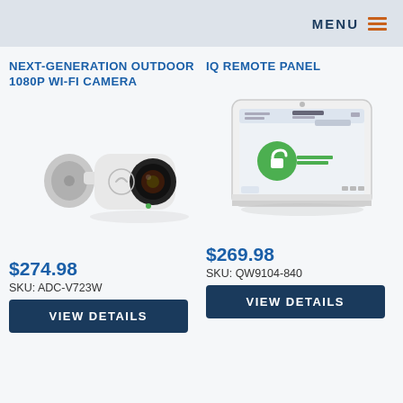MENU
NEXT-GENERATION OUTDOOR 1080P WI-FI CAMERA
[Figure (photo): White outdoor security camera with a round lens and mounting bracket, shown at an angle against a white background]
$274.98
SKU: ADC-V723W
VIEW DETAILS
IQ REMOTE PANEL
[Figure (photo): White touchscreen security panel tablet with a green unlocked lock icon on the display, shown at an angle]
$269.98
SKU: QW9104-840
VIEW DETAILS